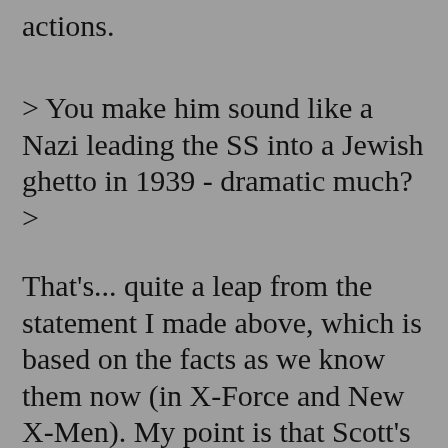actions.
> You make him sound like a Nazi leading the SS into a Jewish ghetto in 1939 - dramatic much?
>
That's... quite a leap from the statement I made above, which is based on the facts as we know them now (in X-Force and New X-Men). My point is that Scott's